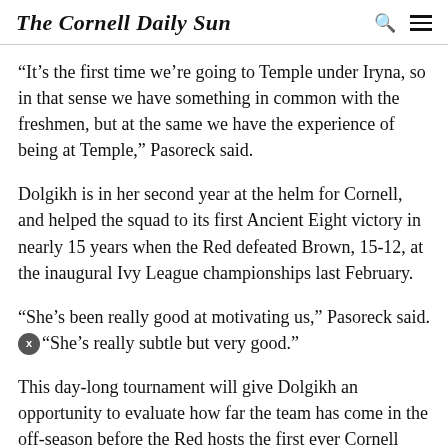The Cornell Daily Sun
“It’s the first time we’re going to Temple under Iryna, so in that sense we have something in common with the freshmen, but at the same we have the experience of being at Temple,” Pasoreck said.
Dolgikh is in her second year at the helm for Cornell, and helped the squad to its first Ancient Eight victory in nearly 15 years when the Red defeated Brown, 15-12, at the inaugural Ivy League championships last February.
“She’s been really good at motivating us,” Pasoreck said. “She’s really subtle but very good.”
This day-long tournament will give Dolgikh an opportunity to evaluate how far the team has come in the off-season before the Red hosts the first ever Cornell